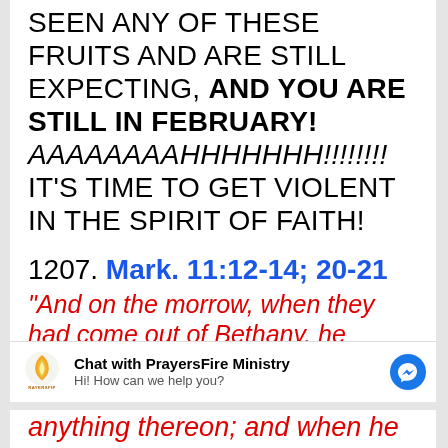SEEN ANY OF THESE FRUITS AND ARE STILL EXPECTING, AND YOU ARE STILL IN FEBRUARY! AAAAAAAAHHHHHHH!!!!!!!!!  IT'S TIME TO GET VIOLENT IN THE SPIRIT OF FAITH!
1207. Mark. 11:12-14; 20-21
“And on the morrow, when they had come out of Bethany, he [Jesus] hungered. And seeing a fig
[Figure (logo): PrayersFire Ministry logo - flame icon in orange/yellow with text RAYERSFIP below]
Chat with PrayersFire Ministry
Hi! How can we help you?
anything thereon; and when he